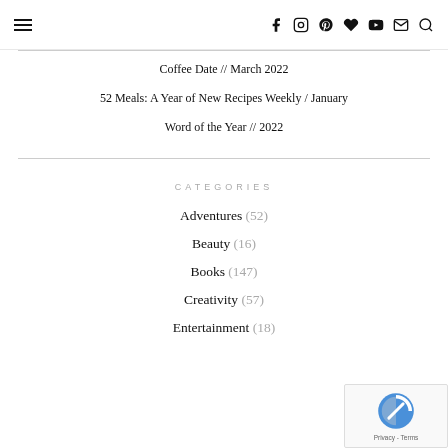≡ [navigation icons: facebook, instagram, pinterest, heart, youtube, email, search]
Coffee Date // March 2022
52 Meals: A Year of New Recipes Weekly / January
Word of the Year // 2022
CATEGORIES
Adventures (52)
Beauty (16)
Books (147)
Creativity (57)
Entertainment (18)